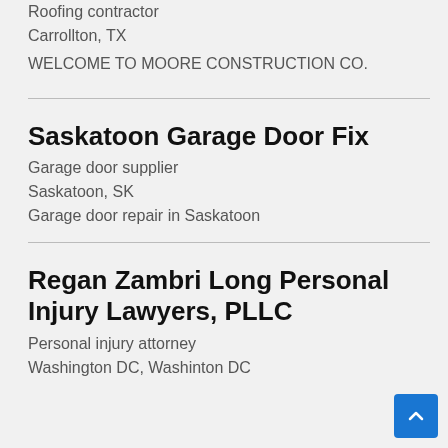Roofing contractor
Carrollton, TX
WELCOME TO MOORE CONSTRUCTION CO.
Saskatoon Garage Door Fix
Garage door supplier
Saskatoon, SK
Garage door repair in Saskatoon
Regan Zambri Long Personal Injury Lawyers, PLLC
Personal injury attorney
Washington DC, Washinton DC